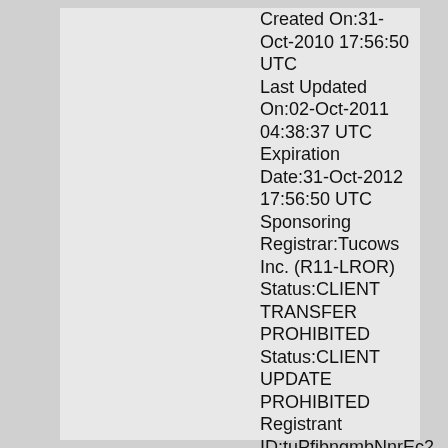Created On:31-Oct-2010 17:56:50 UTC Last Updated On:02-Oct-2011 04:38:37 UTC Expiration Date:31-Oct-2012 17:56:50 UTC Sponsoring Registrar:Tucows Inc. (R11-LROR) Status:CLIENT TRANSFER PROHIBITED Status:CLIENT UPDATE PROHIBITED Registrant ID:tuPfibngmbNnrEc2 Registrant Name:Contact Privacy Inc. Customer 0125275020 Registrant